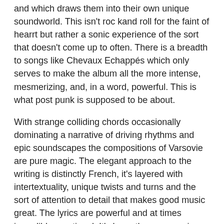and which draws them into their own unique soundworld. This isn't roc kand roll for the faint of hearrt but rather a sonic experience of the sort that doesn't come up to often. There is a breadth to songs like Chevaux Echappés which only serves to make the album all the more intense, mesmerizing, and, in a word, powerful. This is what post punk is supposed to be about.
With strange colliding chords occasionally dominating a narrative of driving rhythms and epic soundscapes the compositions of Varsovie are pure magic. The elegant approach to the writing is distinctly French, it's layered with intertextuality, unique twists and turns and the sort of attention to detail that makes good music great. The lyrics are powerful and at times incredible emotional. It's been three years since we last heard from these guys but one can only hope the power of this record keeps them cranking out top notch material quickly because this is triumphant.
Find them on Facebook!
https://www.facebook.com/varsovie.propaganda